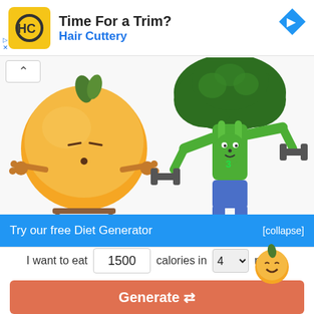[Figure (illustration): Hair Cuttery advertisement banner with HC logo on yellow/orange background, text 'Time For a Trim?' and 'Hair Cuttery' in blue, directional sign icon in blue diamond top right]
[Figure (illustration): Cartoon zen orange character sitting cross-legged with eyes closed and small arms, with text 'Be cool - Zen orange' below]
[Figure (illustration): Cartoon buff broccoli character lifting dumbbells with blue shorts and red shoes, with text 'I never skip arm day - Buff broc' below, small smiling orange emoji overlaid]
Try our free Diet Generator
[collapse]
I want to eat 1500 calories in 4 meals.
Generate